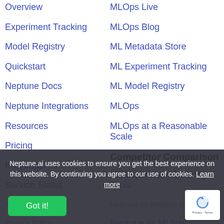Overview
Experiment Tracking
Model Registry
Quickstart
Neptune Docs
Neptune Integrations
Resources
Pricing
Roadmap
Service Status
MLOps Live
MLOps Blog
ML Metadata Store
ML Experiment Tracking
ML Model Registry
MLOps
MLOps at a Reasonable Scale
Competitor Comparison
ML Experiment Tracking Tools
Neptune vs Weights & Biases
Neptune vs MLflow
Neptune vs TensorBoard
Neptune.ai uses cookies to ensure you get the best experience on this website. By continuing you agree to our use of cookies. Learn more
Got it!